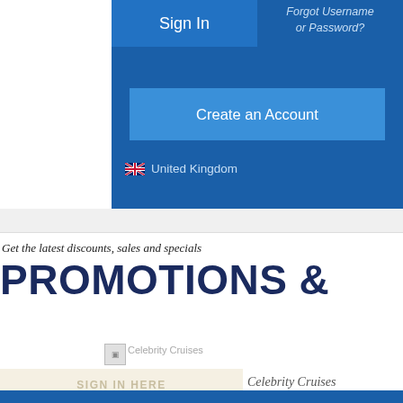[Figure (screenshot): A cropped screenshot of a Celebrity Cruises website login panel showing 'Sign In' button and 'Forgot Username or Password?' link on a dark blue background.]
Sign In
Forgot Username or Password?
Create an Account
United Kingdom
Get the latest discounts, sales and specials
PROMOTIONS &
Celebrity Cruises
SIGN IN HERE
Celebrity Cruises